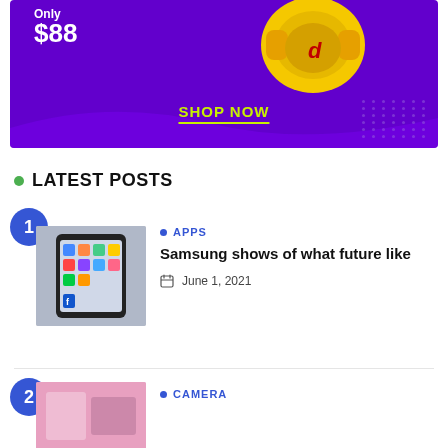[Figure (infographic): Purple advertisement banner for headphones. Shows price 'Only $88' with yellow Beats headphones image and 'SHOP NOW' call-to-action in yellow-green text with decorative dot pattern.]
LATEST POSTS
1 — APPS — Samsung shows of what future like — June 1, 2021
2 — CAMERA